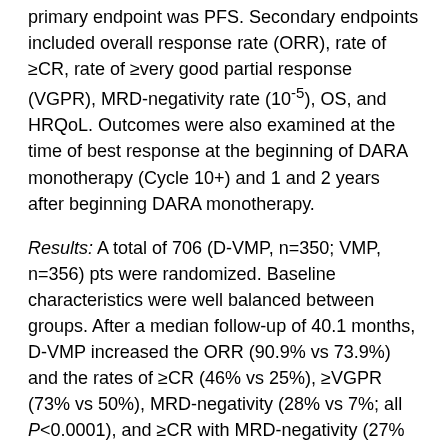primary endpoint was PFS. Secondary endpoints included overall response rate (ORR), rate of ≥CR, rate of ≥very good partial response (VGPR), MRD-negativity rate (10⁻⁵), OS, and HRQoL. Outcomes were also examined at the time of best response at the beginning of DARA monotherapy (Cycle 10+) and 1 and 2 years after beginning DARA monotherapy.
Results: A total of 706 (D-VMP, n=350; VMP, n=356) pts were randomized. Baseline characteristics were well balanced between groups. After a median follow-up of 40.1 months, D-VMP increased the ORR (90.9% vs 73.9%) and the rates of ≥CR (46% vs 25%), ≥VGPR (73% vs 50%), MRD-negativity (28% vs 7%; all P<0.0001), and ≥CR with MRD-negativity (27% vs 7%) vs VMP. PFS, OS, and time to subsequent therapy were prolonged for pts with deeper responses in both groups. A PFS benefit with D-VMP vs VMP was observed in pts with a best response of PR, VGPR, and ≥CR; all patients who achieved ≥CR with MRD-